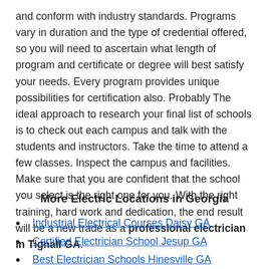and conform with industry standards. Programs vary in duration and the type of credential offered, so you will need to ascertain what length of program and certificate or degree will best satisfy your needs. Every program provides unique possibilities for certification also. Probably The ideal approach to research your final list of schools is to check out each campus and talk with the students and instructors. Take the time to attend a few classes. Inspect the campus and facilities. Make sure that you are confident that the school you select is the right one for you. With the right training, hard work and dedication, the end result will be a new trade as a professional electrician in Tignall GA.
More Electric Locations in Georgia
Industrial Electrical Courses Daisy GA
Certified Electrician School Jesup GA
Best Electrician Schools Hinesville GA
How Long To Become Electrician Vienna GA